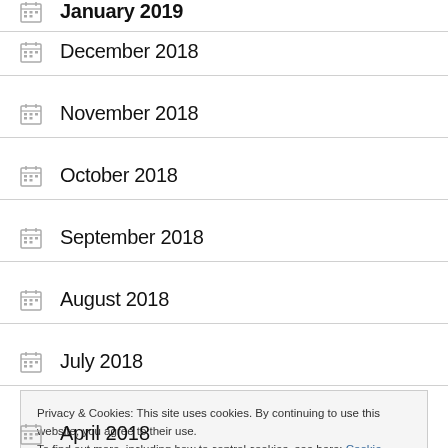January 2019
December 2018
November 2018
October 2018
September 2018
August 2018
July 2018
Privacy & Cookies: This site uses cookies. By continuing to use this website, you agree to their use. To find out more, including how to control cookies, see here: Cookie Policy
April 2018